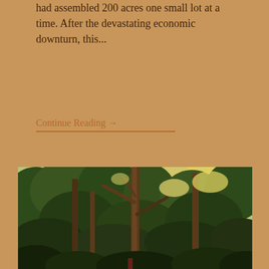had assembled 200 acres one small lot at a time. After the devastating economic downturn, this...
Continue Reading →
[Figure (photo): Upward-looking photograph of tall trees with dense green foliage canopy against a bright sky, taken from below looking up through the tree branches.]